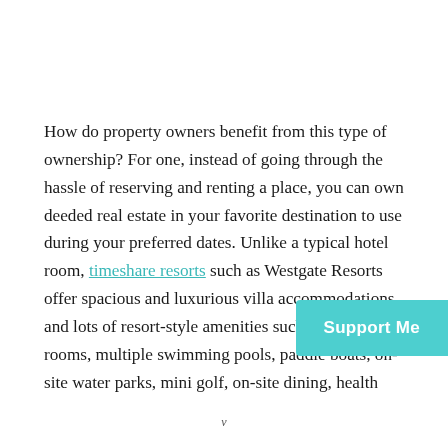How do property owners benefit from this type of ownership? For one, instead of going through the hassle of reserving and renting a place, you can own deeded real estate in your favorite destination to use during your preferred dates. Unlike a typical hotel room, timeshare resorts such as Westgate Resorts offer spacious and luxurious villa accommodations and lots of resort-style amenities such as fitness rooms, multiple swimming pools, paddle boats, on-site water parks, mini golf, on-site dining, health